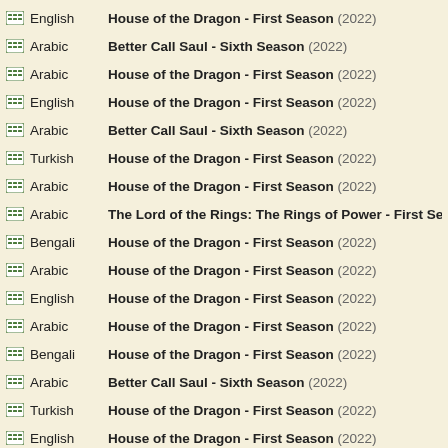English — House of the Dragon - First Season (2022)
Arabic — Better Call Saul - Sixth Season (2022)
Arabic — House of the Dragon - First Season (2022)
English — House of the Dragon - First Season (2022)
Arabic — Better Call Saul - Sixth Season (2022)
Turkish — House of the Dragon - First Season (2022)
Arabic — House of the Dragon - First Season (2022)
Arabic — The Lord of the Rings: The Rings of Power - First Sea
Bengali — House of the Dragon - First Season (2022)
Arabic — House of the Dragon - First Season (2022)
English — House of the Dragon - First Season (2022)
Arabic — House of the Dragon - First Season (2022)
Bengali — House of the Dragon - First Season (2022)
Arabic — Better Call Saul - Sixth Season (2022)
Turkish — House of the Dragon - First Season (2022)
English — House of the Dragon - First Season (2022)
Bengali — House of the Dragon - First Season (2022)
Bengali — House of the Dragon - First Season (2022)